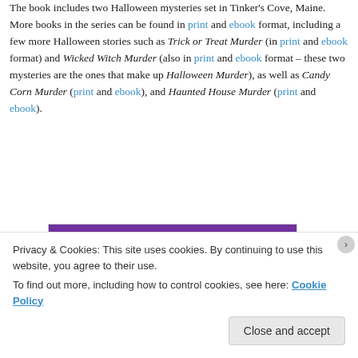The book includes two Halloween mysteries set in Tinker's Cove, Maine. More books in the series can be found in print and ebook format, including a few more Halloween stories such as Trick or Treat Murder (in print and ebook format) and Wicked Witch Murder (also in print and ebook format – these two mysteries are the ones that make up Halloween Murder), as well as Candy Corn Murder (print and ebook), and Haunted House Murder (print and ebook).
[Figure (photo): Book cover showing 'NEW YORK TIMES BESTSELLING AUTHOR LESLIE MEIER' on a purple background with gold text]
Privacy & Cookies: This site uses cookies. By continuing to use this website, you agree to their use.
To find out more, including how to control cookies, see here: Cookie Policy